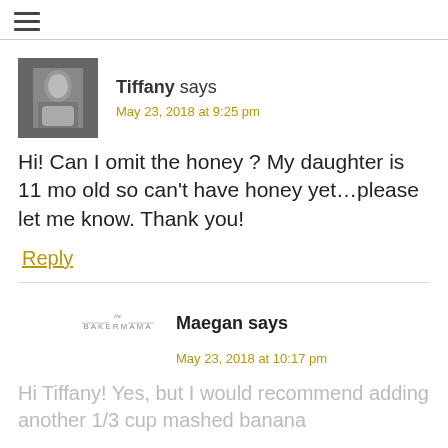≡
[Figure (photo): Small black and white avatar photo of a person]
Tiffany says
May 23, 2018 at 9:25 pm
Hi! Can I omit the honey ? My daughter is 11 mo old so can't have honey yet...please let me know. Thank you!
Reply
[Figure (logo): The BakerMama logo]
Maegan says
May 23, 2018 at 10:17 pm
Hi Tiffany! Yes, but I would recommend adding another 1/3 cup mashed banana